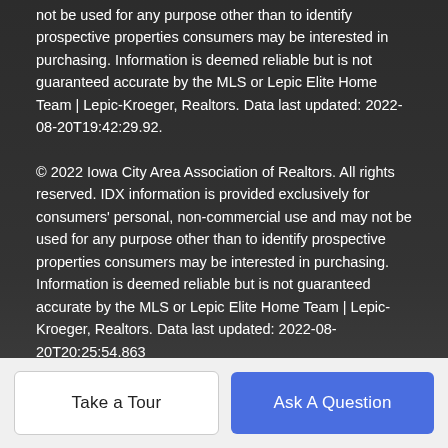not be used for any purpose other than to identify prospective properties consumers may be interested in purchasing. Information is deemed reliable but is not guaranteed accurate by the MLS or Lepic Elite Home Team | Lepic-Kroeger, Realtors. Data last updated: 2022-08-20T19:42:29.92.
© 2022 Iowa City Area Association of Realtors. All rights reserved. IDX information is provided exclusively for consumers' personal, non-commercial use and may not be used for any purpose other than to identify prospective properties consumers may be interested in purchasing. Information is deemed reliable but is not guaranteed accurate by the MLS or Lepic Elite Home Team | Lepic-Kroeger, Realtors. Data last updated: 2022-08-20T20:25:54.863
BoomTown! © 2022
Terms of Use | Privacy Policy | Accessibility | DMCA
Take a Tour
Ask A Question